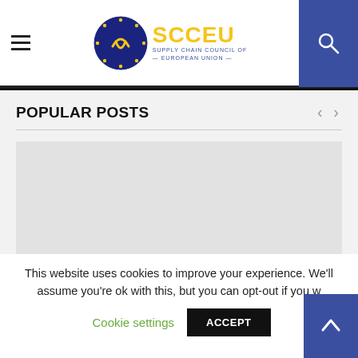SCCEU — Supply Chain Council of European Union
POPULAR POSTS
[Figure (photo): Placeholder image area for a popular post thumbnail, shown as a light grey rectangle]
This website uses cookies to improve your experience. We'll assume you're ok with this, but you can opt-out if you w
Cookie settings
ACCEPT